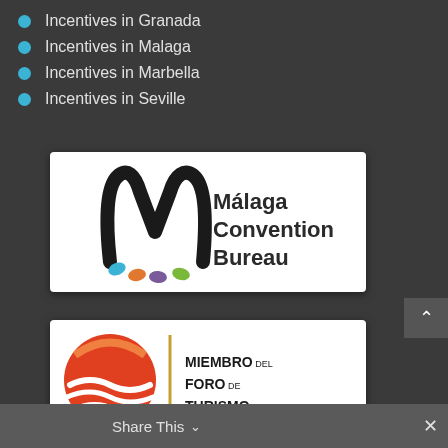Incentives in Granada
Incentives in Malaga
Incentives in Marbella
Incentives in Seville
[Figure (logo): Málaga Convention Bureau logo — black stylized M with coloured dots (blue, orange, purple, green) and text 'Málaga Convention Bureau' in dark grey]
[Figure (logo): Costa del Sol Málaga logo with orange/red sun-wave graphic, a vertical gold divider line, and text 'MIEMBRO DEL FORO DE TURISMO']
Share This